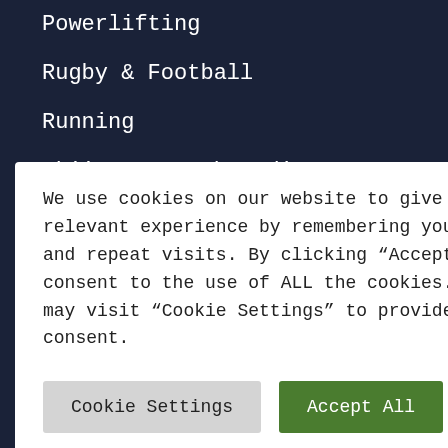Powerlifting
Rugby & Football
Running
Skiing & Snowboarding
Sports Physio
We use cookies on our website to give you the most relevant experience by remembering your preferences and repeat visits. By clicking “Accept All”, you consent to the use of ALL the cookies. However, you may visit “Cookie Settings” to provide a controlled consent.
Cookie Settings | Accept All
Physiotherapy & Osteopathy